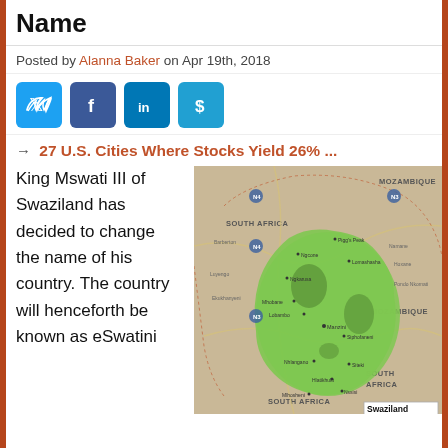Name
Posted by Alanna Baker on Apr 19th, 2018
[Figure (infographic): Social share buttons: Twitter, Facebook, LinkedIn, and one other (dollar sign icon)]
→ 27 U.S. Cities Where Stocks Yield 26% ...
King Mswati III of Swaziland has decided to change the name of his country. The country will henceforth be known as eSwatini
[Figure (map): Map of Swaziland (eSwatini) showing the country highlighted in green, surrounded by South Africa and Mozambique, with city/town labels throughout.]